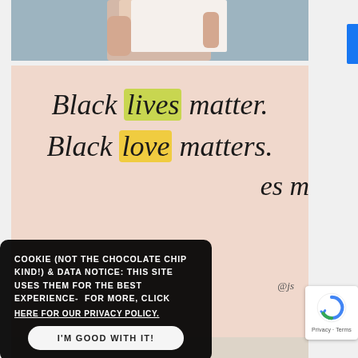[Figure (photo): Hand holding a blank white card/envelope against a blue-gray background]
[Figure (illustration): Pink/peach background card with handwritten script text reading 'Black lives matter. Black love matters. [Black lives] matter.' with green and yellow brush highlights on 'lives' and 'love']
COOKIE (NOT THE CHOCOLATE CHIP KIND!) & DATA NOTICE: THIS SITE USES THEM FOR THE BEST EXPERIENCE- FOR MORE, CLICK
HERE FOR OUR PRIVACY POLICY.
I'M GOOD WITH IT!
[Figure (logo): Google reCAPTCHA logo with Privacy and Terms links]